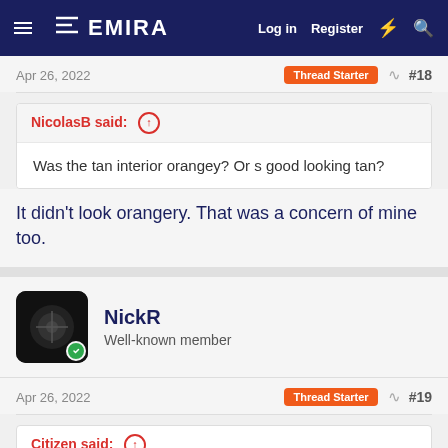EMIRA — Log in  Register
Apr 26, 2022  Thread Starter  #18
NicolasB said: Was the tan interior orangey? Or s good looking tan?
It didn't look orangery. That was a concern of mine too.
NickR — Well-known member
Apr 26, 2022  Thread Starter  #19
Citizen said: